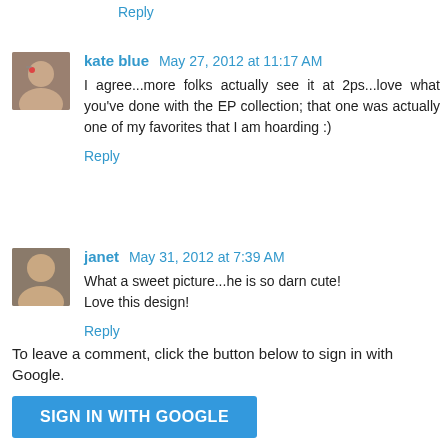Reply
kate blue  May 27, 2012 at 11:17 AM
I agree...more folks actually see it at 2ps...love what you've done with the EP collection; that one was actually one of my favorites that I am hoarding :)
Reply
janet  May 31, 2012 at 7:39 AM
What a sweet picture...he is so darn cute!
Love this design!
Reply
To leave a comment, click the button below to sign in with Google.
SIGN IN WITH GOOGLE